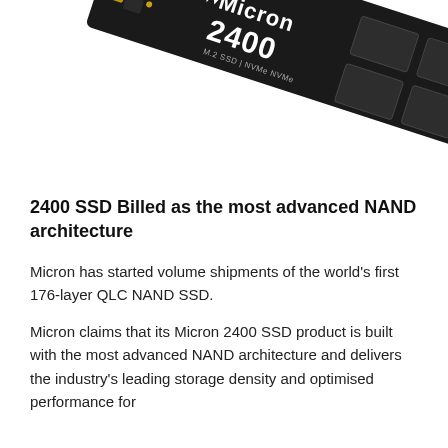[Figure (photo): Close-up photo of a Micron 2400 M.2 SSD — a slim black circuit board with the Micron logo and '2400' branding printed in white text, angled diagonally against a white background.]
2400 SSD Billed as the most advanced NAND architecture
Micron has started volume shipments of the world's first 176-layer QLC NAND SSD.
Micron claims that its Micron 2400 SSD product is built with the most advanced NAND architecture and delivers the industry's leading storage density and optimised performance for